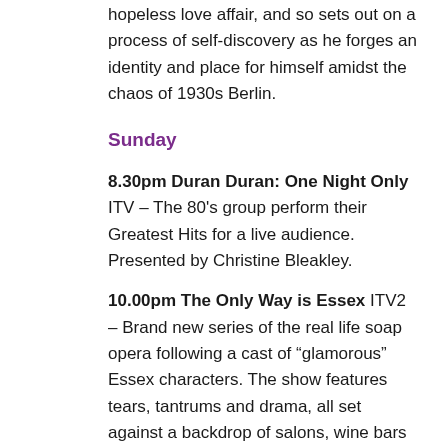hopeless love affair, and so sets out on a process of self-discovery as he forges an identity and place for himself amidst the chaos of 1930s Berlin.
Sunday
8.30pm Duran Duran: One Night Only ITV – The 80's group perform their Greatest Hits for a live audience. Presented by Christine Bleakley.
10.00pm The Only Way is Essex ITV2 – Brand new series of the real life soap opera following a cast of "glamorous" Essex characters. The show features tears, tantrums and drama, all set against a backdrop of salons, wine bars and nightclubs. Familiar stars return and are joined by some new faces who are sure to shake things up.
Monday